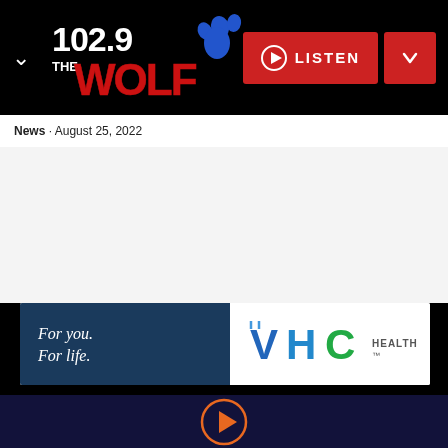[Figure (logo): 102.9 The Wolf radio station logo with red bold WOLF text and blue paw print, on black background. Chevron/dropdown arrow on the left. LISTEN button with play icon and dropdown chevron on the right, both in red.]
News · August 25, 2022
[Figure (illustration): VHC Health advertisement banner: dark navy blue left panel with white italic text 'For you. For life.' and right white panel with VHC Health logo in blue and green.]
[Figure (illustration): Social media icons on black background: Facebook, Twitter, Instagram icons in white.]
[Figure (illustration): Audio player bar with orange circular play button on dark navy background.]